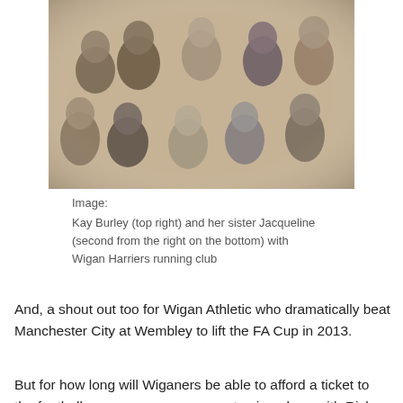[Figure (photo): Black and white group photograph of young women, in two rows. Top row has five women standing, bottom row has five women seated or kneeling. Vintage photo, likely from the 1970s or 1980s.]
Image:
Kay Burley (top right) and her sister Jacqueline (second from the right on the bottom) with Wigan Harriers running club
And, a shout out too for Wigan Athletic who dramatically beat Manchester City at Wembley to lift the FA Cup in 2013.
But for how long will Wiganers be able to afford a ticket to the football game or an arena pass to sing along with Rick